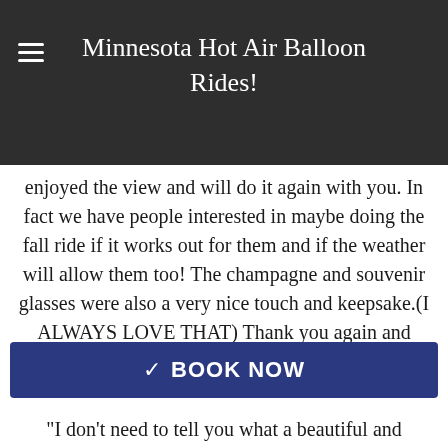Minnesota Hot Air Balloon Rides!
attempt and we never thought we'd get up; we started to feel like a bad dream was all the time. But Saturday you and the weather made it happen. It was absolutely gorgeous and worth it! The pilot made the trip – he must be a comedian on the side!! We really enjoyed the view and will do it again with you. In fact we have people interested in maybe doing the fall ride if it works out for them and if the weather will allow them too! The champagne and souvenir glasses were also a very nice touch and keepsake.(I ALWAYS LOVE THAT) Thank you again and happy riding! Thank you!"
Brian H. & Andrea M.
"I don't need to tell you what a beautiful and special place we live in. It truly was spectacular to watch that sun come up over the river valley and light up the morning sky and add brilliance and hue to the multi-colored … us for a bit, … magical moment in time. Having the photographer aboard